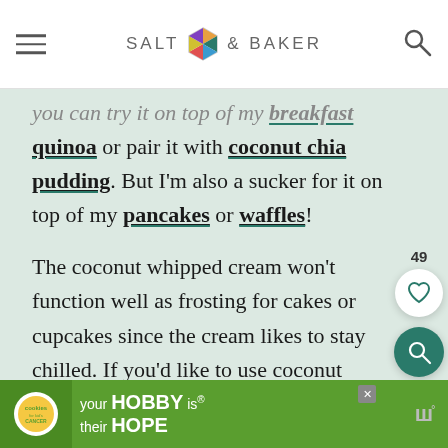SALT & BAKER
you can try it on top of my breakfast quinoa or pair it with coconut chia pudding. But I'm also a sucker for it on top of my pancakes or waffles!
The coconut whipped cream won't function well as frosting for cakes or cupcakes since the cream likes to stay chilled. If you'd like to use coconut whipped cream on cake or cupcakes, frost the items and then chill them in the fridge.
[Figure (other): Advertisement banner for Cookies for Kid's Cancer - 'your HOBBY is their HOPE']